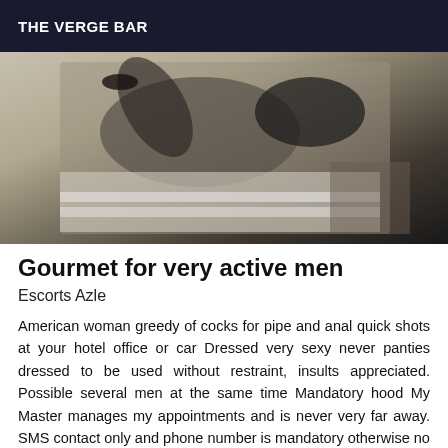THE VERGE BAR
[Figure (photo): A person lying on a white surface, wearing dark clothing and stockings, photographed from an unusual angle.]
Gourmet for very active men
Escorts Azle
American woman greedy of cocks for pipe and anal quick shots at your hotel office or car Dressed very sexy never panties dressed to be used without restraint, insults appreciated. Possible several men at the same time Mandatory hood My Master manages my appointments and is never very far away. SMS contact only and phone number is mandatory otherwise no